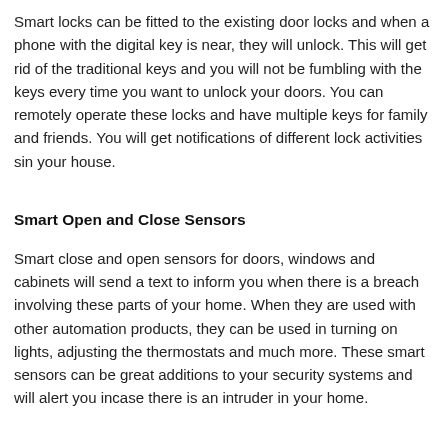Smart locks can be fitted to the existing door locks and when a phone with the digital key is near, they will unlock. This will get rid of the traditional keys and you will not be fumbling with the keys every time you want to unlock your doors. You can remotely operate these locks and have multiple keys for family and friends. You will get notifications of different lock activities sin your house.
Smart Open and Close Sensors
Smart close and open sensors for doors, windows and cabinets will send a text to inform you when there is a breach involving these parts of your home. When they are used with other automation products, they can be used in turning on lights, adjusting the thermostats and much more. These smart sensors can be great additions to your security systems and will alert you incase there is an intruder in your home.